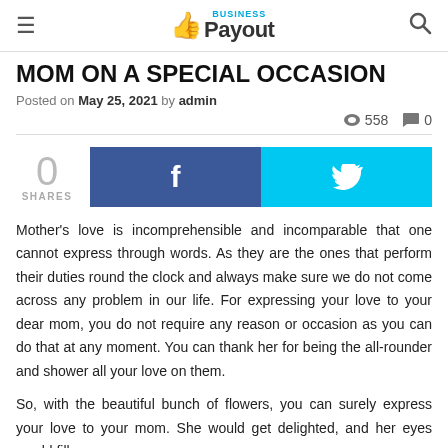Business Payout
MOM ON A SPECIAL OCCASION
Posted on May 25, 2021 by admin
558   0
[Figure (other): Social share buttons: 0 SHARES, Facebook button, Twitter button]
Mother's love is incomprehensible and incomparable that one cannot express through words. As they are the ones that perform their duties round the clock and always make sure we do not come across any problem in our life. For expressing your love to your dear mom, you do not require any reason or occasion as you can do that at any moment. You can thank her for being the all-rounder and shower all your love on them.
So, with the beautiful bunch of flowers, you can surely express your love to your mom. She would get delighted, and her eyes would fill